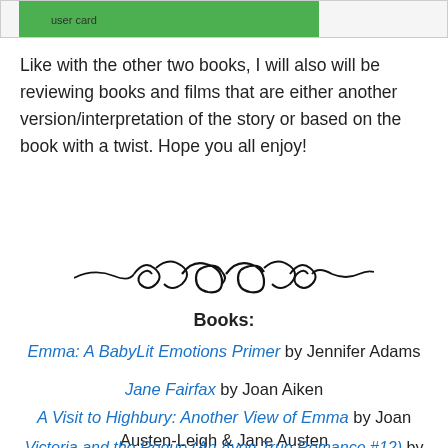[Figure (other): Top banner with green background and 'user card' text]
Like with the other two books, I will also will be reviewing books and films that are either another version/interpretation of the story or based on the book with a twist. Hope you all enjoy!
[Figure (illustration): Decorative black swirl/flourish divider]
Books:
Emma: A BabyLit Emotions Primer by Jennifer Adams
Jane Fairfax by Joan Aiken
A Visit to Highbury: Another View of Emma by Joan Austen-Leigh & Jane Austen
Victoria and the Rogue (An Avon True Romance #12) by